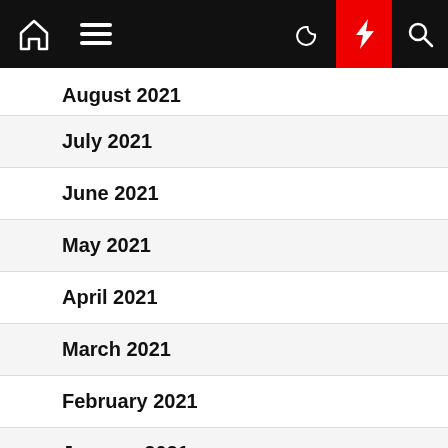Navigation bar with home, menu, dark mode, lightning, and search icons
August 2021
July 2021
June 2021
May 2021
April 2021
March 2021
February 2021
January 2021
December 2020
November 2020